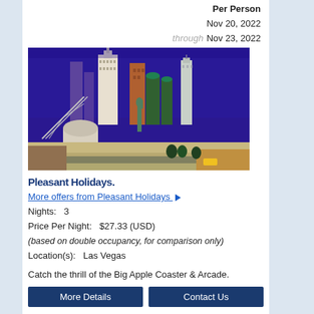Per Person
Nov 20, 2022
through Nov 23, 2022
[Figure (photo): New York-New York Hotel & Casino in Las Vegas with skyline replica including Empire State Building, Statue of Liberty, and roller coaster]
Pleasant Holidays.
More offers from Pleasant Holidays ▶
Nights:  3
Price Per Night:  $27.33 (USD)
(based on double occupancy, for comparison only)
Location(s):   Las Vegas
Catch the thrill of the Big Apple Coaster & Arcade.
More Details   Contact Us